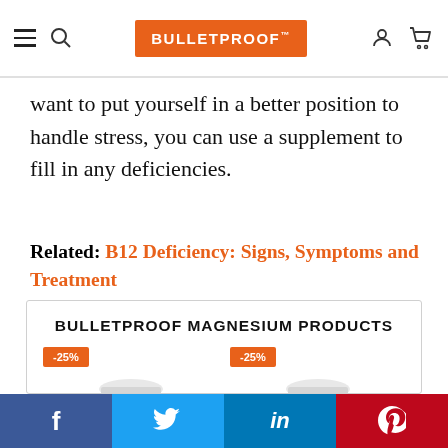BULLETPROOF (navigation bar with logo, hamburger menu, search, user icon, cart icon)
want to put yourself in a better position to handle stress, you can use a supplement to fill in any deficiencies.
Related: B12 Deficiency: Signs, Symptoms and Treatment
[Figure (other): Bulletproof Magnesium Products promotional box showing two supplement jars with -25% discount badges]
Social share bar: Facebook, Twitter, LinkedIn, Pinterest